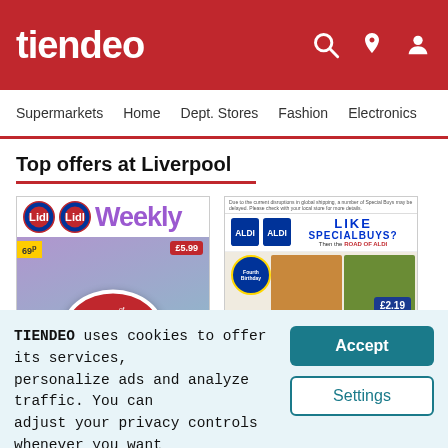tiendeo
Supermarkets | Home | Dept. Stores | Fashion | Electronics
Top offers at Liverpool
[Figure (screenshot): Lidl Weekly catalogue thumbnail showing 'Pick of the Week' with price tags including £5.99, 69p, £2.99]
[Figure (screenshot): Aldi Special Buys catalogue thumbnail with text 'LIKE SPECIALBUYS?' showing food imagery and £2.19 price tag, 59p]
TIENDEO uses cookies to offer its services, personalize ads and analyze traffic. You can adjust your privacy controls whenever you want in the settings.